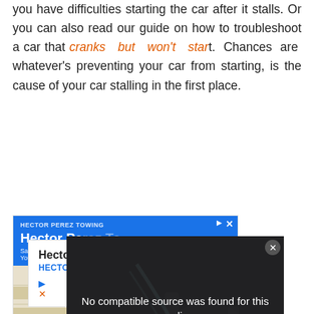you have difficulties starting the car after it stalls. Or you can also read our guide on how to troubleshoot a car that cranks but won't start. Chances are whatever's preventing your car from starting, is the cause of your car stalling in the first place.
[Figure (screenshot): Advertisement for Hector Perez Towing with a video overlay showing 'No compatible source was found for this media.' message over a car engine image. Below is a Google Maps-style business listing card.]